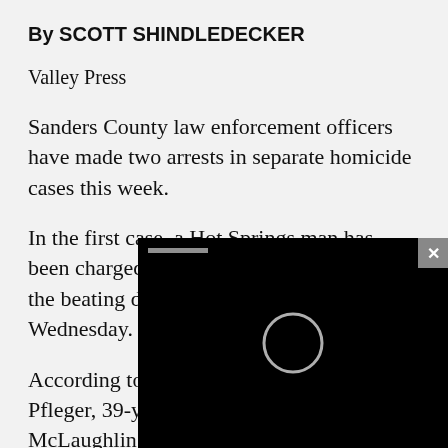By SCOTT SHINDLEDECKER
Valley Press
Sanders County law enforcement officers have made two arrests in separate homicide cases this week.
In the first case, a Hot Springs man has been charged with deliberate homicide in the beating death of another man on Wednesday.
According to Hot S... Pfleger, 39-year-old... McLaughlin was ta... officers were calle...
[Figure (screenshot): Black video player overlay with circular play indicator and close button, partially covering the article text]